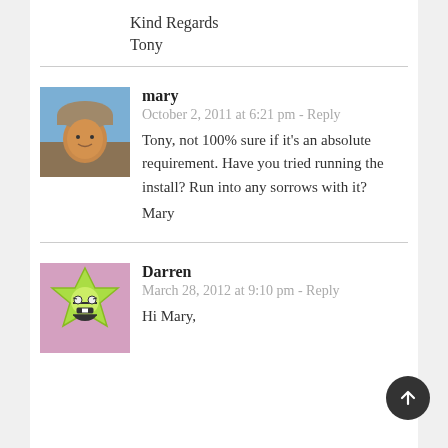Kind Regards

Tony
mary
October 2, 2011 at 6:21 pm - Reply
Tony, not 100% sure if it's an absolute requirement. Have you tried running the install? Run into any sorrows with it?

Mary
Darren
March 28, 2012 at 9:10 pm - Reply
Hi Mary,